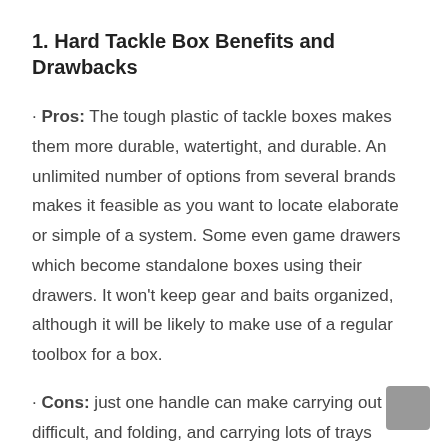1. Hard Tackle Box Benefits and Drawbacks
· Pros: The tough plastic of tackle boxes makes them more durable, watertight, and durable. An unlimited number of options from several brands makes it feasible as you want to locate elaborate or simple of a system. Some even game drawers which become standalone boxes using their drawers. It won’t keep gear and baits organized, although it will be likely to make use of a regular toolbox for a box.
· Cons: just one handle can make carrying out difficult, and folding, and carrying lots of trays